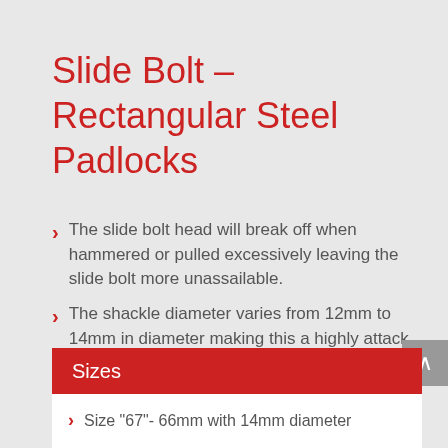Slide Bolt – Rectangular Steel Padlocks
The slide bolt head will break off when hammered or pulled excessively leaving the slide bolt more unassailable.
The shackle diameter varies from 12mm to 14mm in diameter making this a highly attack resistant padlock
Sizes
Size "67"- 66mm with 14mm diameter